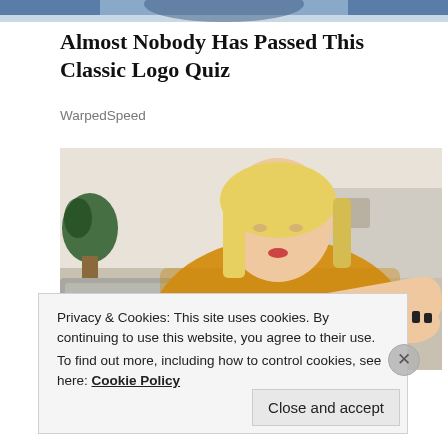[Figure (photo): Top portion of a person's upper body, partially cropped, appearing at the top of the page.]
Almost Nobody Has Passed This Classic Logo Quiz
WarpedSpeed
[Figure (photo): A blonde woman in a yellow knit sweater looking down at her arm, examining something on her skin. She is seated in a living space with a grey sofa and plants in the background.]
Privacy & Cookies: This site uses cookies. By continuing to use this website, you agree to their use.
To find out more, including how to control cookies, see here: Cookie Policy
Close and accept